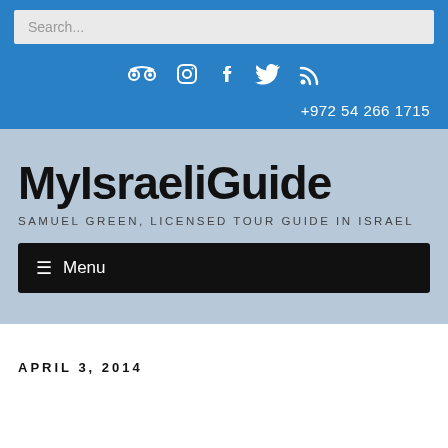Search...
[Figure (other): Social media icons: TripAdvisor, Instagram, Facebook, Twitter, RSS feed]
+972 54 266 1715
MyIsraeliGuide
SAMUEL GREEN, LICENSED TOUR GUIDE IN ISRAEL
≡ Menu
APRIL 3, 2014